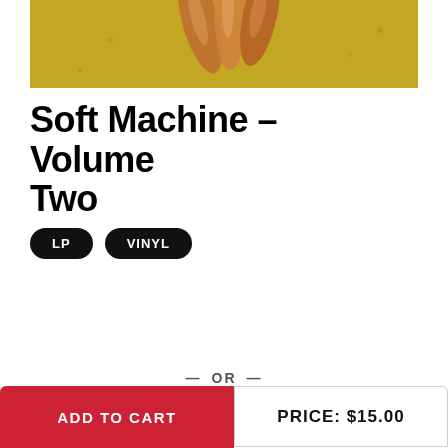[Figure (photo): Close-up photo of a plant or organic texture with reddish-orange and olive-green tones, possibly star-shaped seed pods or petals against a golden-green background]
Soft Machine - Volume Two
LP
VINYL
— OR —
ADD TO CART
PRICE: $15.00